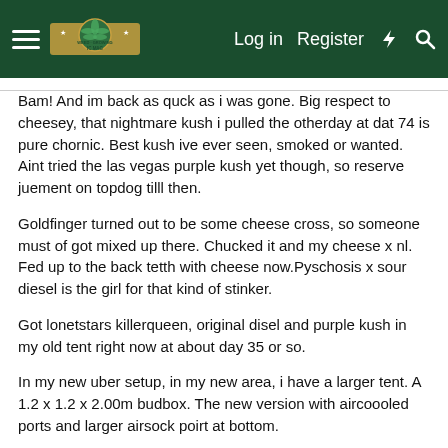Log in  Register
Bam! And im back as quck as i was gone. Big respect to cheesey, that nightmare kush i pulled the otherday at dat 74 is pure chornic. Best kush ive ever seen, smoked or wanted. Aint tried the las vegas purple kush yet though, so reserve juement on topdog tilll then.
Goldfinger turned out to be some cheese cross, so someone must of got mixed up there. Chucked it and my cheese x nl. Fed up to the back tetth with cheese now.Pyschosis x sour diesel is the girl for that kind of stinker.
Got lonetstars killerqueen, original disel and purple kush in my old tent right now at about day 35 or so.
In my new uber setup, in my new area, i have a larger tent. A 1.2 x 1.2 x 2.00m budbox. The new version with aircoooled ports and larger airsock poirt at bottom.
Upgraded to a 600watt compact ballast. Did want a 100watt...